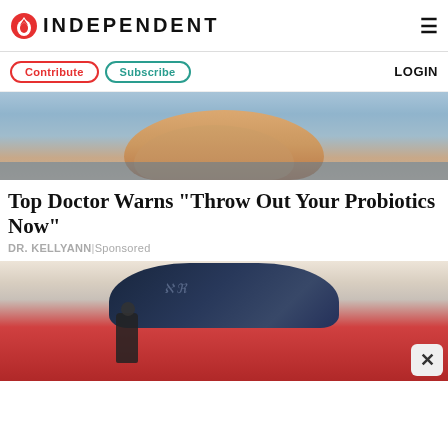INDEPENDENT
Contribute | Subscribe | LOGIN
[Figure (photo): Close-up photo of fingers on a blue fabric background]
Top Doctor Warns "Throw Out Your Probiotics Now"
DR. KELLYANN | Sponsored
[Figure (photo): Photo of a red sports car interior/exterior with a person in background and a close (X) button overlay]